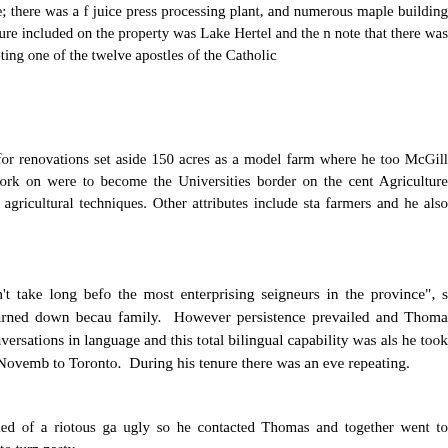a few of the enterprises on the estate; there was a f juice press processing plant, and numerous maple building of stone replacing the wooden structure included on the property was Lake Hertel and the n note that there was a pathway up the mountain and denoting one of the twelve apostles of the Catholic
He began laying out plans for renovations set aside 150 acres as a model farm where he too McGill University's Principal was doing work on were to become the Universities border on the cent Agriculture Society and for the next twenty fiv agricultural techniques. Other attributes include st farmers and he also started the first agricultural sch
It seems as though it didn't take long befo the most enterprising seigneurs in the province", s Secretary a position he initially turned down becau family. However persistence prevailed and Thoma connected to the Seigneury and conversations in language and this total bilingual capability was als he took office, a position he held until late Novemb to Toronto. During his tenure there was an eve repeating.
Lord Elgin had been notified of a riotous ga ugly so he contacted Thomas and together went to obvious that the situation was going to turn nasty